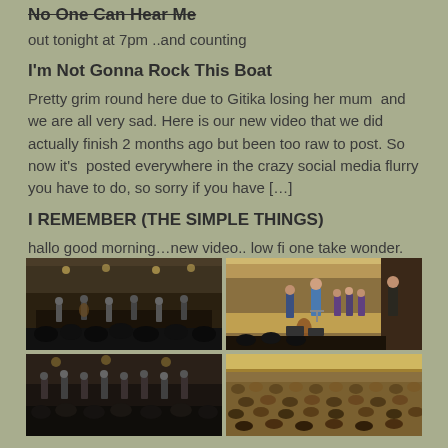No One Can Hear Me
out tonight at 7pm ..and counting
I'm Not Gonna Rock This Boat
Pretty grim round here due to Gitika losing her mum  and we are all very sad. Here is our new video that we did actually finish 2 months ago but been too raw to post. So now it's  posted everywhere in the crazy social media flurry you have to do, so sorry if you have […]
I REMEMBER (THE SIMPLE THINGS)
hallo good morning…new video.. low fi one take wonder.
[Figure (photo): Concert performance photos in a hall — two rows of two images each showing musicians on stage and audience]
[Figure (photo): Top right concert photo showing performers on stage with a conductor and choir]
[Figure (photo): Bottom left concert photo showing musicians and audience]
[Figure (photo): Bottom right concert photo showing audience in a concert hall]